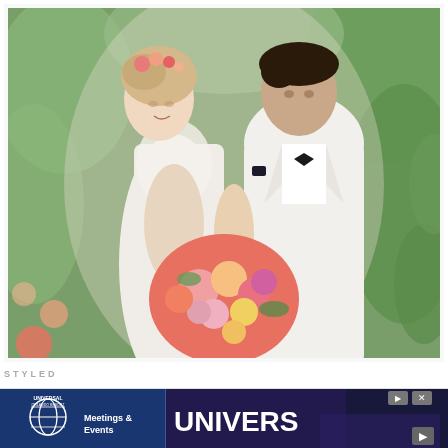[Figure (photo): Wedding photo of a bride and groom facing each other closely, almost kissing. The bride wears a white lace dress with floral hair accessories and holds a large colorful bouquet of pink, yellow, and coral flowers. The groom wears a white suit with a black bow tie and pocket square. They are surrounded by green foliage and floral arrangements in an outdoor garden setting.]
STYLED
[Figure (screenshot): Advertisement banner for Universal Orlando Resort - Meetings & Events. Left side shows the Universal globe logo on a dark blue background with text 'Meetings & Events'. Right side shows a dark nighttime image with 'UNIVERS' text visible and people in the background. Navigation controls visible.]